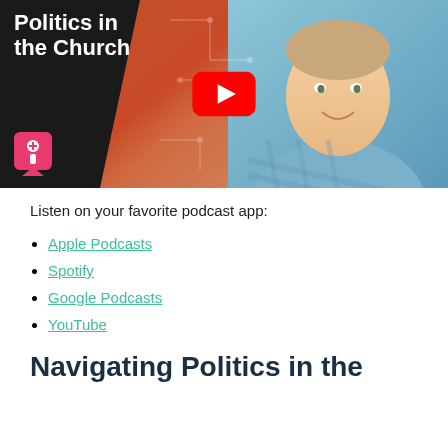[Figure (screenshot): YouTube video thumbnail showing title 'Politics in the Church' with a red YouTube play button, diagonal orange stripe, circuit pattern, and a smiling man in a blue checked shirt on the right side, with a pink/red logo badge in the bottom left]
Listen on your favorite podcast app:
Apple Podcasts
Spotify
Google Podcasts
YouTube
Navigating Politics in the